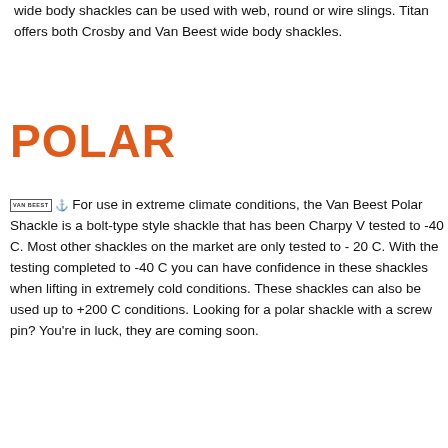wide body shackles can be used with web, round or wire slings. Titan offers both Crosby and Van Beest wide body shackles.
POLAR
For use in extreme climate conditions, the Van Beest Polar Shackle is a bolt-type style shackle that has been Charpy V tested to -40 C. Most other shackles on the market are only tested to - 20 C. With the testing completed to -40 C you can have confidence in these shackles when lifting in extremely cold conditions. These shackles can also be used up to +200 C conditions. Looking for a polar shackle with a screw pin? You're in luck, they are coming soon.